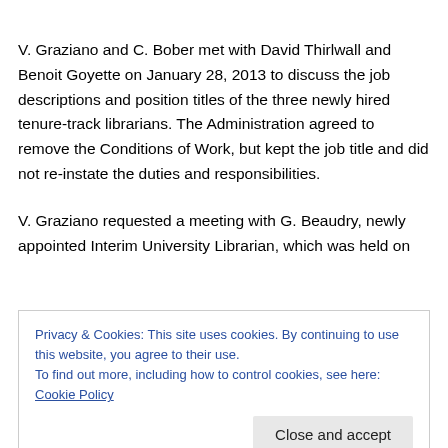V. Graziano and C. Bober met with David Thirlwall and Benoit Goyette on January 28, 2013 to discuss the job descriptions and position titles of the three newly hired tenure-track librarians. The Administration agreed to remove the Conditions of Work, but kept the job title and did not re-instate the duties and responsibilities.
V. Graziano requested a meeting with G. Beaudry, newly appointed Interim University Librarian, which was held on
Privacy & Cookies: This site uses cookies. By continuing to use this website, you agree to their use.
To find out more, including how to control cookies, see here: Cookie Policy
that are in accordance to past practice. The 3 revised job